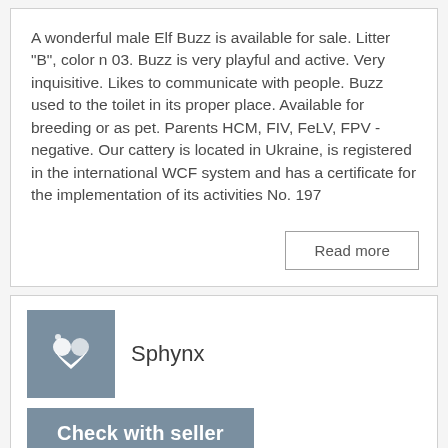A wonderful male Elf Buzz is available for sale. Litter "B", color n 03. Buzz is very playful and active. Very inquisitive. Likes to communicate with people. Buzz used to the toilet in its proper place. Available for breeding or as pet. Parents HCM, FIV, FeLV, FPV - negative. Our cattery is located in Ukraine, is registered in the international WCF system and has a certificate for the implementation of its activities No. 197
Read more
Sphynx
Check with seller